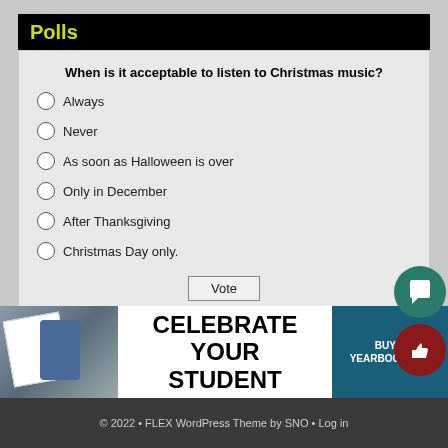Polls
When is it acceptable to listen to Christmas music?
Always
Never
As soon as Halloween is over
Only in December
After Thanksgiving
Christmas Day only.
Vote
View Results
Polls Archive
[Figure (infographic): Advertisement banner: Celebrate Your Student - Buy a Yearbook Ad]
© 2022 • FLEX WordPress Theme by SNO • Log in